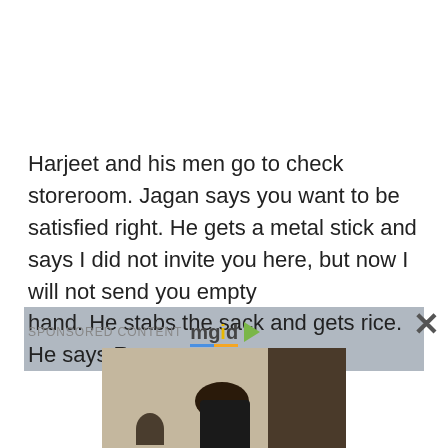Harjeet and his men go to check storeroom. Jagan says you want to be satisfied right. He gets a metal stick and says I did not invite you here, but now I will not send you empty hand. He stabs the sack and gets rice. He says Raman w
SPONSORED CONTENT mgid
[Figure (photo): A woman with curly dark hair wearing a black top and orange/mustard skirt standing near a stone wall with a small arched window, in an Italian alley setting.]
The Story Of The Small Italy Windows In The Walls Is Rather Grim